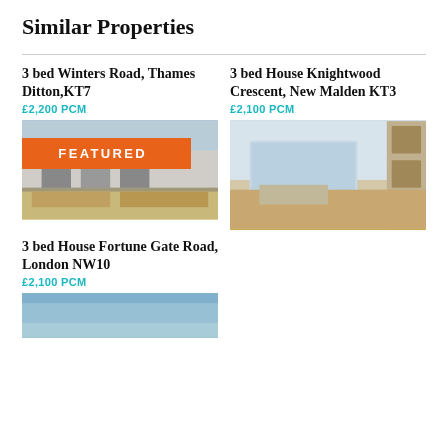Similar Properties
3 bed Winters Road, Thames Ditton,KT7
£2,200 PCM
[Figure (photo): Exterior photo of a terraced house with a wooden fence, with a FEATURED banner overlaid]
3 bed House Knightwood Crescent, New Malden KT3
£2,100 PCM
[Figure (photo): Interior photo of an empty room with large windows and wooden flooring, and built-in shelving]
3 bed House Fortune Gate Road, London NW10
£2,100 PCM
[Figure (photo): Partial exterior photo of a property, cropped at bottom of page]